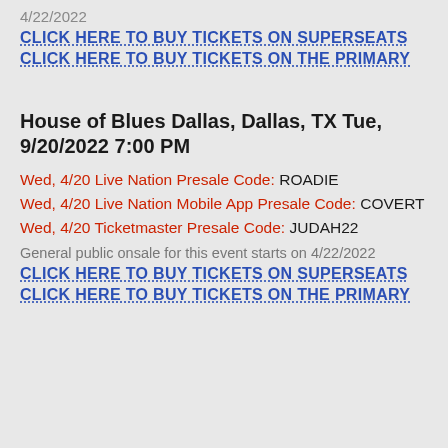4/22/2022
CLICK HERE TO BUY TICKETS ON SUPERSEATS
CLICK HERE TO BUY TICKETS ON THE PRIMARY
House of Blues Dallas, Dallas, TX Tue, 9/20/2022 7:00 PM
Wed, 4/20 Live Nation Presale Code: ROADIE
Wed, 4/20 Live Nation Mobile App Presale Code: COVERT
Wed, 4/20 Ticketmaster Presale Code: JUDAH22
General public onsale for this event starts on 4/22/2022
CLICK HERE TO BUY TICKETS ON SUPERSEATS
CLICK HERE TO BUY TICKETS ON THE PRIMARY